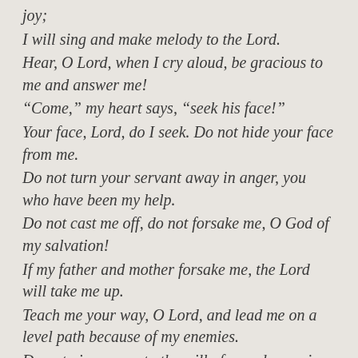joy;
I will sing and make melody to the Lord.
Hear, O Lord, when I cry aloud, be gracious to me and answer me!
“Come,” my heart says, “seek his face!”
Your face, Lord, do I seek. Do not hide your face from me.
Do not turn your servant away in anger, you who have been my help.
Do not cast me off, do not forsake me, O God of my salvation!
If my father and mother forsake me, the Lord will take me up.
Teach me your way, O Lord, and lead me on a level path because of my enemies.
Do not give me up to the will of my adversaries, for false witnesses have risen against me, and they